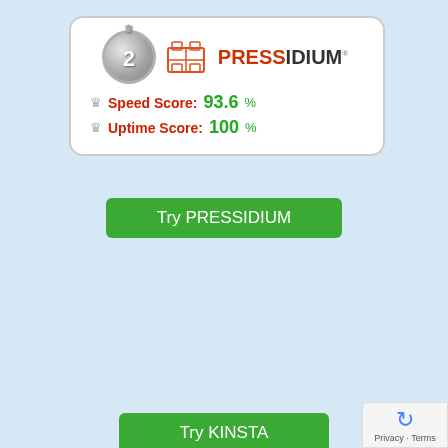[Figure (infographic): Rank 2 Pressidium card with silver medal, logo, Speed Score 93.6%, Uptime Score 100%]
Try PRESSIDIUM
[Figure (infographic): Rank 3 Kinsta card with bronze medal, logo, Speed Score 100%, Uptime Score 56.0%]
Try KINSTA